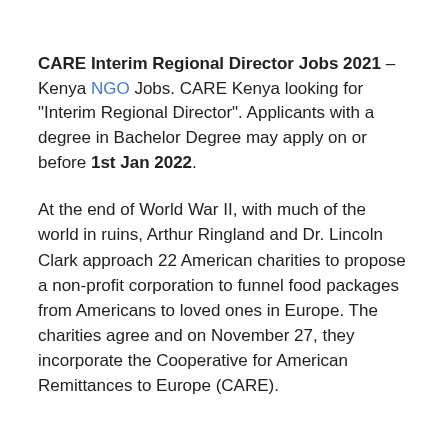CARE Interim Regional Director Jobs 2021 – Kenya NGO Jobs. CARE Kenya looking for "Interim Regional Director". Applicants with a degree in Bachelor Degree may apply on or before 1st Jan 2022.
At the end of World War II, with much of the world in ruins, Arthur Ringland and Dr. Lincoln Clark approach 22 American charities to propose a non-profit corporation to funnel food packages from Americans to loved ones in Europe. The charities agree and on November 27, they incorporate the Cooperative for American Remittances to Europe (CARE).